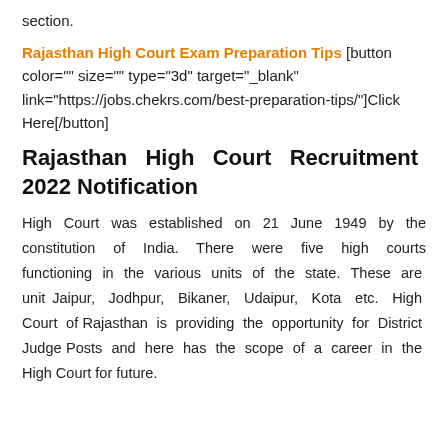section.
Rajasthan High Court Exam Preparation Tips [button color="" size="" type="3d" target="_blank" link="https://jobs.chekrs.com/best-preparation-tips/"]Click Here[/button]
Rajasthan High Court Recruitment 2022 Notification
High Court was established on 21 June 1949 by the constitution of India. There were five high courts functioning in the various units of the state. These are unit Jaipur, Jodhpur, Bikaner, Udaipur, Kota etc. High Court of Rajasthan is providing the opportunity for District Judge Posts and here has the scope of a career in the High Court for future.